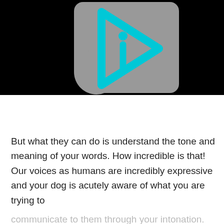[Figure (logo): A cyan/turquoise play-button arrow shape with an 'i' letter inside, on a gray rounded-rectangle background, all on a black banner background.]
But what they can do is understand the tone and meaning of your words. How incredible is that! Our voices as humans are incredibly expressive and your dog is acutely aware of what you are trying to communicate to them through your intonation.